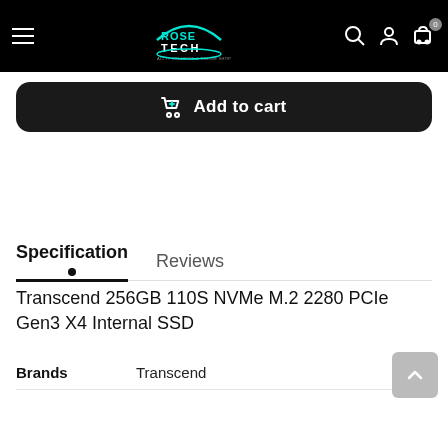[Figure (screenshot): Rose Tech online store navigation bar with hamburger menu, Rose Tech logo in teal/cyan, search icon, user icon, and cart icon with 0 badge, on black background]
[Figure (other): Dark rounded Add to cart button with cart icon and white text]
Specification
Reviews
Transcend 256GB 110S NVMe M.2 2280 PCIe Gen3 X4 Internal SSD
|  |  |
| --- | --- |
| Brands | Transcend |